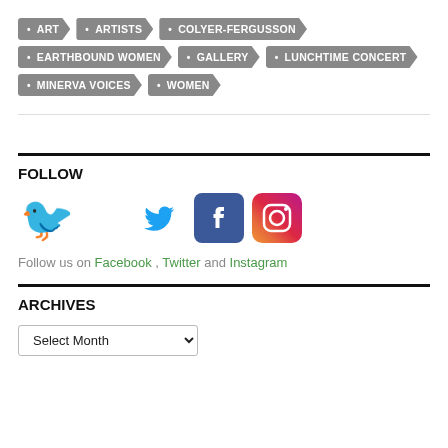ART
ARTISTS
COLYER-FERGUSSON
EARTHBOUND WOMEN
GALLERY
LUNCHTIME CONCERT
MINERVA VOICES
WOMEN
FOLLOW
[Figure (logo): Twitter, Facebook, and Instagram social media icons]
Follow us on Facebook , Twitter and Instagram
ARCHIVES
Select Month (dropdown)